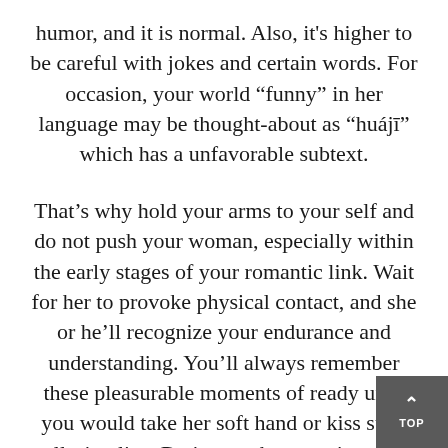humor, and it is normal. Also, it's higher to be careful with jokes and certain words. For occasion, your world “funny” in her language may be thought-about as “huájī” which has a unfavorable subtext.
That’s why hold your arms to your self and do not push your woman, especially within the early stages of your romantic link. Wait for her to provoke physical contact, and she or he’ll recognize your endurance and understanding. You’ll always remember these pleasurable moments of ready until you would take her soft hand or kiss such alluring lips. Dating — that very interval when individuals communicate, spend lot time collectively, trying to reveal each other’s